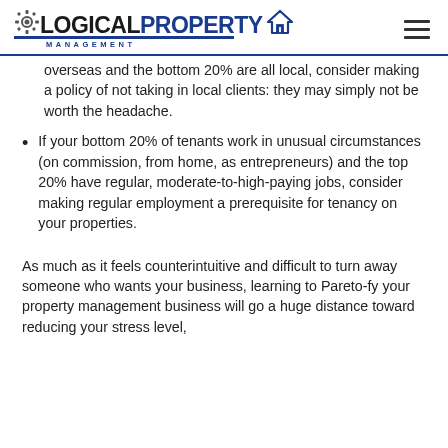Logical Property Management
overseas and the bottom 20% are all local, consider making a policy of not taking in local clients: they may simply not be worth the headache.
If your bottom 20% of tenants work in unusual circumstances (on commission, from home, as entrepreneurs) and the top 20% have regular, moderate-to-high-paying jobs, consider making regular employment a prerequisite for tenancy on your properties.
As much as it feels counterintuitive and difficult to turn away someone who wants your business, learning to Pareto-fy your property management business will go a huge distance toward reducing your stress level,